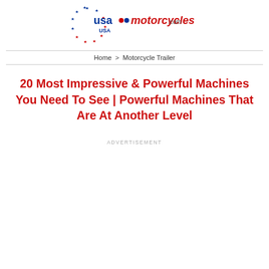[Figure (logo): USA Motorcycles .com logo with circular stars and motorcycle icons]
Home > Motorcycle Trailer
20 Most Impressive & Powerful Machines You Need To See | Powerful Machines That Are At Another Level
ADVERTISEMENT